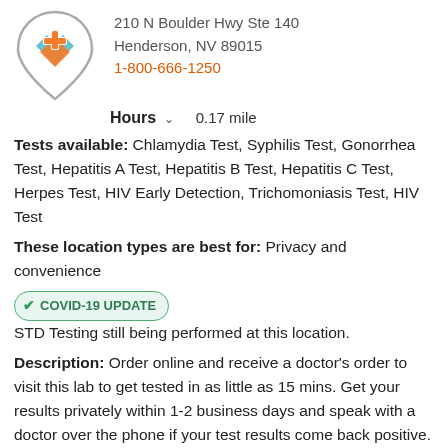[Figure (logo): Medical location pin logo with orange cross and teal/blue chevron checkmark]
210 N Boulder Hwy Ste 140
Henderson, NV 89015
1-800-666-1250
Hours ∨   0.17 mile
Tests available: Chlamydia Test, Syphilis Test, Gonorrhea Test, Hepatitis A Test, Hepatitis B Test, Hepatitis C Test, Herpes Test, HIV Early Detection, Trichomoniasis Test, HIV Test
These location types are best for: Privacy and convenience
COVID-19 UPDATE  STD Testing still being performed at this location.
Description: Order online and receive a doctor's order to visit this lab to get tested in as little as 15 mins. Get your results privately within 1-2 business days and speak with a doctor over the phone if your test results come back positive. Doctors may